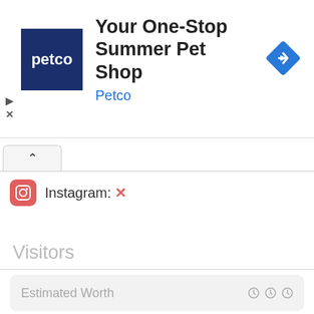[Figure (screenshot): Petco advertisement banner with navy blue Petco logo, title 'Your One-Stop Summer Pet Shop', brand name 'Petco' in blue, and a blue diamond navigation icon on the right. Play and close (X) controls on the left side.]
Instagram: ✕
Visitors
Estimated Worth
$60 USD